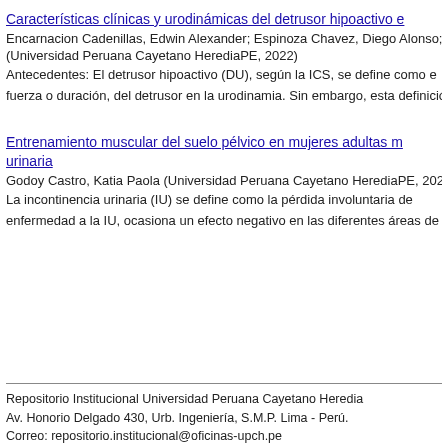Características clínicas y urodinámicas del detrusor hipoactivo e...
Encarnacion Cadenillas, Edwin Alexander; Espinoza Chavez, Diego Alonso; R...
(Universidad Peruana Cayetano HerediaPE, 2022)
Antecedentes: El detrusor hipoactivo (DU), según la ICS, se define como ... fuerza o duración, del detrusor en la urodinamia. Sin embargo, esta definición...
Entrenamiento muscular del suelo pélvico en mujeres adultas m... urinaria
Godoy Castro, Katia Paola (Universidad Peruana Cayetano HerediaPE, 2022)
La incontinencia urinaria (IU) se define como la pérdida involuntaria de ... enfermedad a la IU, ocasiona un efecto negativo en las diferentes áreas de la...
Repositorio Institucional Universidad Peruana Cayetano Heredia
Av. Honorio Delgado 430, Urb. Ingeniería, S.M.P. Lima - Perú.
Correo: repositorio.institucional@oficinas-upch.pe